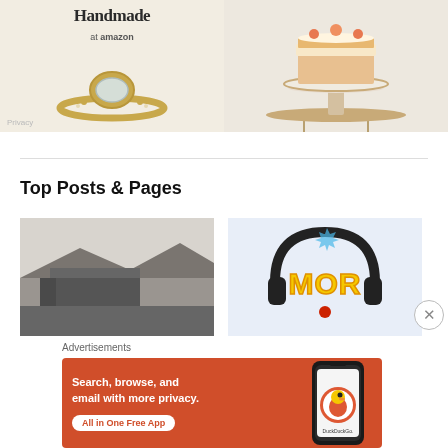[Figure (photo): Handmade at Amazon advertisement banner showing a gold ring with gemstone on left and a layered cake on a gold cake stand on right, with Privacy label at bottom left]
[Figure (other): Top Posts & Pages section with two thumbnails: a black-and-white landscape/building photo on the left, and a colorful podcast logo (MOR) with headphones on the right]
Advertisements
[Figure (other): DuckDuckGo advertisement: orange background with white text 'Search, browse, and email with more privacy. All in One Free App' and a phone showing DuckDuckGo logo on the right]